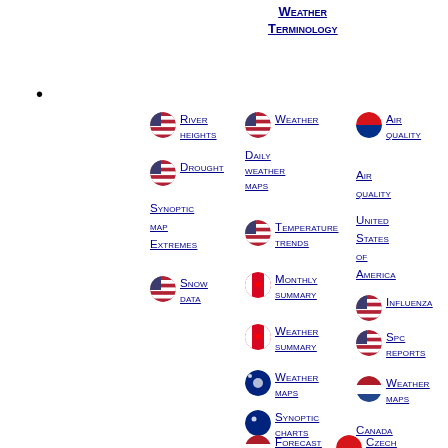Weather Terminology
•
River heights
Drought
Synoptic map Extremes
Snow data
Weather
Daily weather maps
Temperature trends
Monthly summary
Weather summary
Weather maps
Synoptic charts
Forecast
Air quality
Air quality
United States of America
Influenza
SPC reports
Weather maps
Canada
Czech meteogram